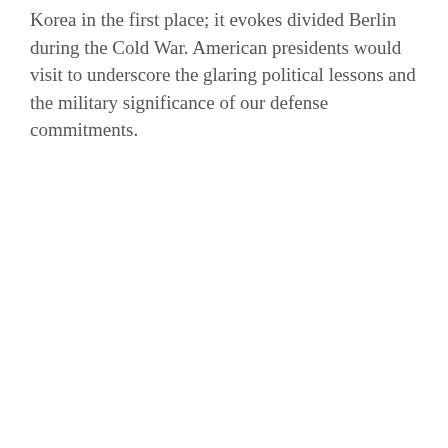Korea in the first place; it evokes divided Berlin during the Cold War. American presidents would visit to underscore the glaring political lessons and the military significance of our defense commitments.